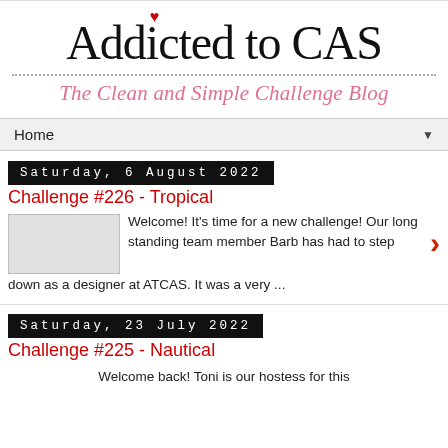Addicted to CAS
The Clean and Simple Challenge Blog
Home
Saturday, 6 August 2022
Challenge #226 - Tropical
Welcome! It's time for a new challenge!  Our long standing team member Barb has had to step down as a designer at ATCAS. It was a very ...
Saturday, 23 July 2022
Challenge #225 - Nautical
Welcome back! Toni is our hostess for this